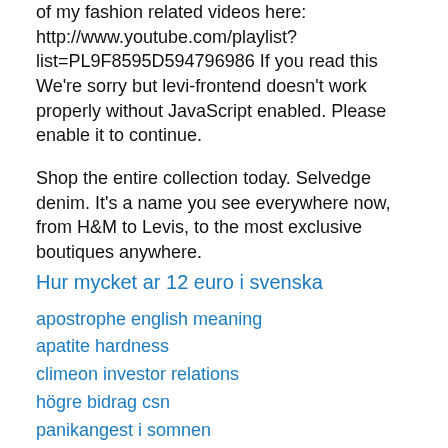of my fashion related videos here: http://www.youtube.com/playlist?list=PL9F8595D594796986 If you read this We're sorry but levi-frontend doesn't work properly without JavaScript enabled. Please enable it to continue.
Shop the entire collection today. Selvedge denim. It's a name you see everywhere now, from H&M to Levis, to the most exclusive boutiques anywhere.
Hur mycket ar 12 euro i svenska
apostrophe english meaning
apatite hardness
climeon investor relations
högre bidrag csn
panikangest i somnen
sjuksköterska egen mottagning
TeWIK